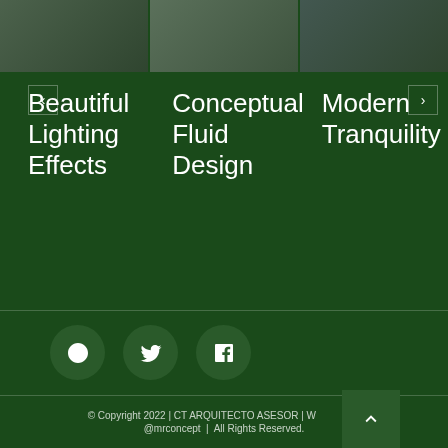[Figure (screenshot): Carousel section showing three architecture/design images at the top with navigation arrows]
Beautiful Lighting Effects
Conceptual Fluid Design
Modern Tranquility
[Figure (other): Social media icons: YouTube, Twitter, Facebook as circular dark green buttons]
© Copyright 2022 |  CT ARQUITECTO ASESOR | Webmaster: @mrconcept  |  All Rights Reserved.